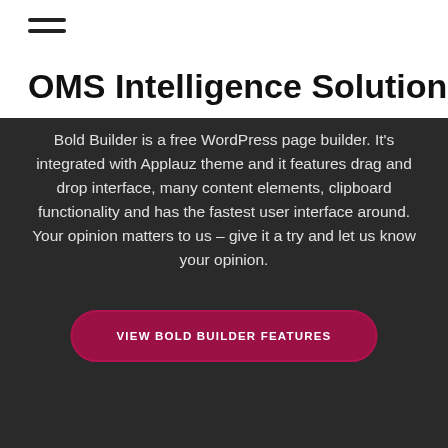[Figure (other): Hamburger menu icon with two horizontal lines]
OMS Intelligence Solutions
Bold Builder is a free WordPress page builder. It's integrated with Applauz theme and it features drag and drop interface, many content elements, clipboard functionality and has the fastest user interface around. Your opinion matters to us – give it a try and let us know your opinion.
VIEW BOLD BUILDER FEATURES